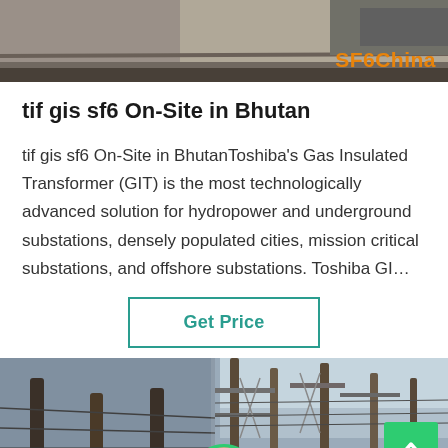[Figure (photo): Top banner photo of industrial/electrical equipment, partially visible, with 'SF6China' watermark in orange on the right side]
tif gis sf6 On-Site in Bhutan
tif gis sf6 On-Site in BhutanToshiba's Gas Insulated Transformer (GIT) is the most technologically advanced solution for hydropower and underground substations, densely populated cities, mission critical substations, and offshore substations. Toshiba GI…
Get Price
[Figure (photo): Bottom banner photo showing electrical substation with power transmission poles/towers against a sky background, split into two panels]
Leave Message   Chat Online